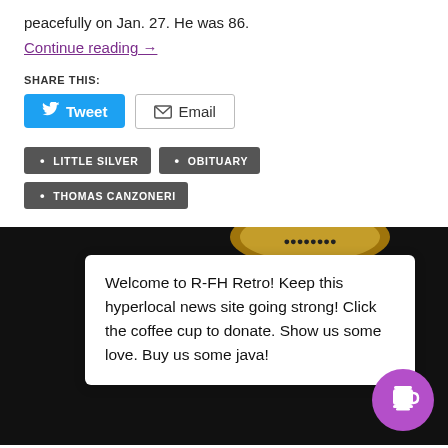peacefully on Jan. 27. He was 86.
Continue reading →
SHARE THIS:
Tweet
Email
LITTLE SILVER
OBITUARY
THOMAS CANZONERI
[Figure (other): Badge/seal image with gold decorative border at top of dark background section]
Welcome to R-FH Retro! Keep this hyperlocal news site going strong! Click the coffee cup to donate. Show us some love. Buy us some java!
[Figure (other): Purple circle button with coffee cup icon for donations]